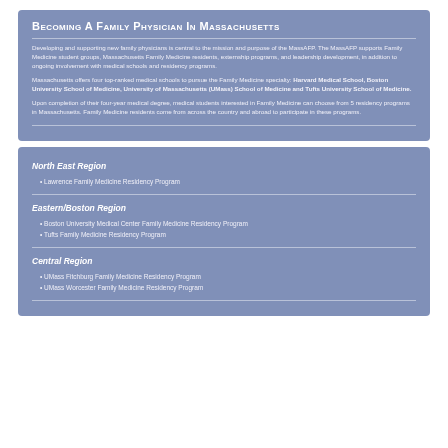Becoming a Family Physician in Massachusetts
Developing and supporting new family physicians is central to the mission and purpose of the MassAFP. The MassAFP supports Family Medicine student groups, Massachusetts Family Medicine residents, externship programs, and leadership development, in addition to ongoing involvement with medical schools and residency programs.
Massachusetts offers four top-ranked medical schools to pursue the Family Medicine specialty: Harvard Medical School, Boston University School of Medicine, University of Massachusetts (UMass) School of Medicine and Tufts University School of Medicine.
Upon completion of their four-year medical degree, medical students interested in Family Medicine can choose from 5 residency programs in Massachusetts. Family Medicine residents come from across the country and abroad to participate in these programs.
North East Region
Lawrence Family Medicine Residency Program
Eastern/Boston Region
Boston University Medical Center Family Medicine Residency Program
Tufts Family Medicine Residency Program
Central Region
UMass Fitchburg Family Medicine Residency Program
UMass Worcester Family Medicine Residency Program